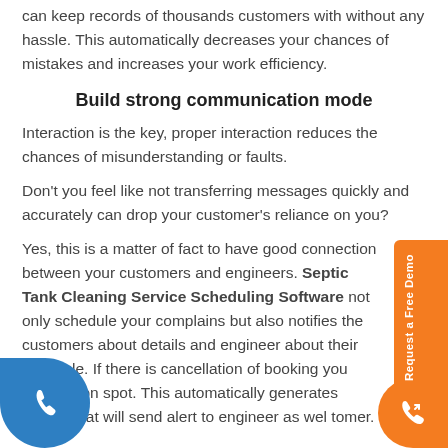can keep records of thousands customers with without any hassle. This automatically decreases your chances of mistakes and increases your work efficiency.
Build strong communication mode
Interaction is the key, proper interaction reduces the chances of misunderstanding or faults.
Don't you feel like not transferring messages quickly and accurately can drop your customer's reliance on you?
Yes, this is a matter of fact to have good connection between your customers and engineers. Septic Tank Cleaning Service Scheduling Software not only schedule your complains but also notifies the customers about details and engineer about their schedule. If there is cancellation of booking you can that on spot. This automatically generates a sage that will send alert to engineer as wel tomer.